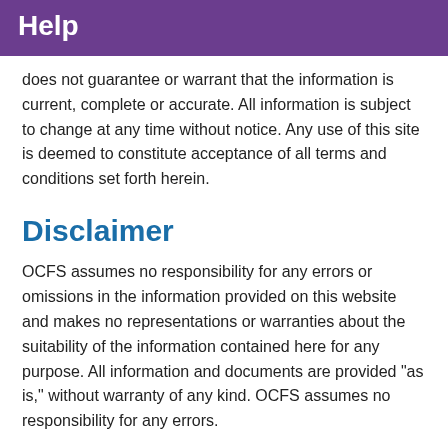Help
does not guarantee or warrant that the information is current, complete or accurate. All information is subject to change at any time without notice. Any use of this site is deemed to constitute acceptance of all terms and conditions set forth herein.
Disclaimer
OCFS assumes no responsibility for any errors or omissions in the information provided on this website and makes no representations or warranties about the suitability of the information contained here for any purpose. All information and documents are provided "as is," without warranty of any kind. OCFS assumes no responsibility for any errors.